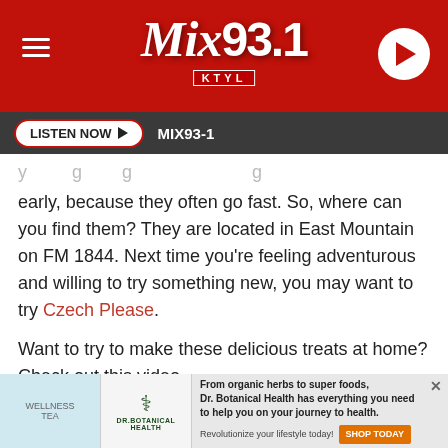[Figure (screenshot): Mix 93.1 KTYL radio station website header with red background, hamburger menu icon, Mix 93.1 logo, and play button]
LISTEN NOW ▶  MIX93-1
Keep in mind, because they are small, they are a pre-order bakery. You'll want to check (Czech, ha!) out what they can
[Figure (screenshot): Facebook Share button and Twitter Tweet button side by side]
early, because they often go fast. So, where can you find them? They are located in East Mountain on FM 1844. Next time you're feeling adventurous and willing to try something new, you may want to try Czech Please.
Want to try to make these delicious treats at home? Check out this video.
[Figure (screenshot): Dr. Botanical Health advertisement banner: From organic herbs to super foods, Dr. Botanical Health has everything you need to help you on your journey to health. Revolutionize your lifestyle today! SHOP TODAY]